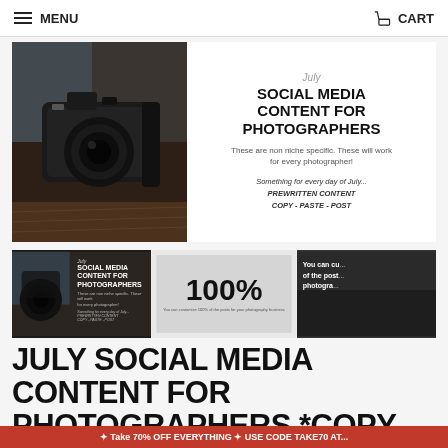MENU   CART
[Figure (photo): Product listing card showing a DSLR camera on wooden table with product title text: July SOCIAL MEDIA CONTENT FOR PHOTOGRAPHERS. These are non niche specific. These will work for every photographer! Something for every day of July... PREWRITTEN CONTENT COPY - PASTE - POST]
[Figure (photo): Three thumbnail images: 1) July Social Media Content for Photographers product cover with camera, 2) '100%' text on light background, 3) 'You can cu... of the post... photogra...' text on dark background]
JULY SOCIAL MEDIA CONTENT FOR PHOTOGRAPHERS *COPY-PASTE-POST* ALREADY DONE FOR YOU!
✦ Take 70% OFF EVERYTHING ✦ USE CODE TAKE70 AT...